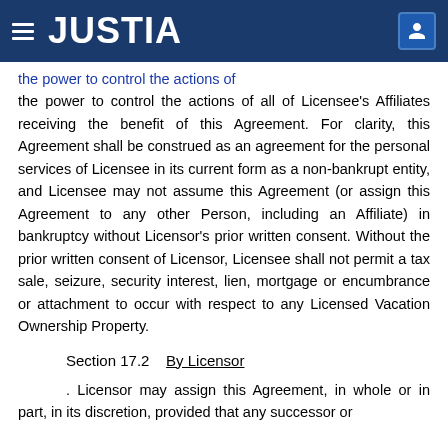JUSTIA
the power to control the actions of all of Licensee's Affiliates receiving the benefit of this Agreement. For clarity, this Agreement shall be construed as an agreement for the personal services of Licensee in its current form as a non-bankrupt entity, and Licensee may not assume this Agreement (or assign this Agreement to any other Person, including an Affiliate) in bankruptcy without Licensor's prior written consent. Without the prior written consent of Licensor, Licensee shall not permit a tax sale, seizure, security interest, lien, mortgage or encumbrance or attachment to occur with respect to any Licensed Vacation Ownership Property.
Section 17.2    By Licensor
. Licensor may assign this Agreement, in whole or in part, in its discretion, provided that any successor or